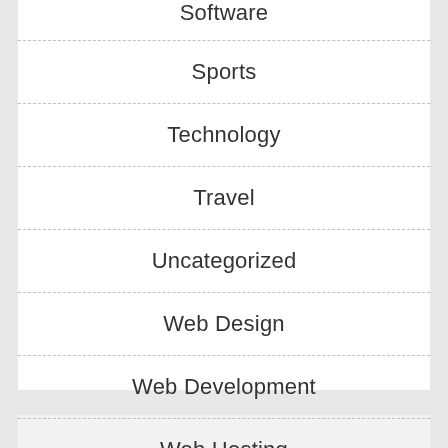Software
Sports
Technology
Travel
Uncategorized
Web Design
Web Development
Web Hosting